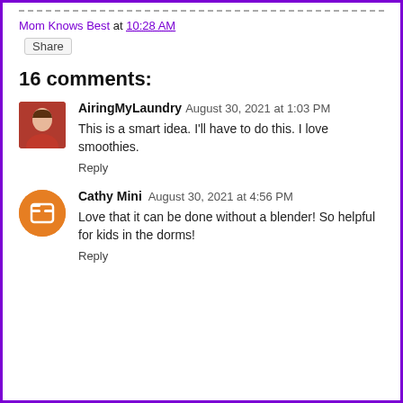Mom Knows Best at 10:28 AM
Share
16 comments:
AiringMyLaundry  August 30, 2021 at 1:03 PM
This is a smart idea. I'll have to do this. I love smoothies.
Reply
Cathy Mini  August 30, 2021 at 4:56 PM
Love that it can be done without a blender! So helpful for kids in the dorms!
Reply